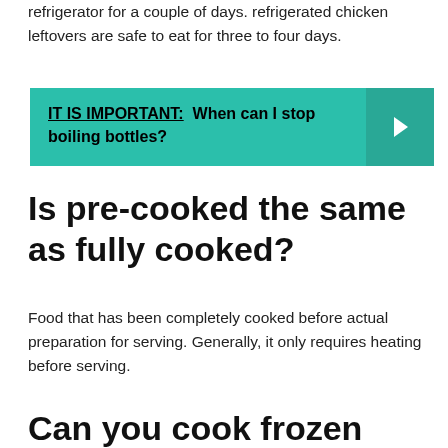refrigerator for a couple of days. refrigerated chicken leftovers are safe to eat for three to four days.
[Figure (infographic): Teal callout box with text: IT IS IMPORTANT: When can I stop boiling bottles? with a right-arrow chevron on the right side on a darker teal background.]
Is pre-cooked the same as fully cooked?
Food that has been completely cooked before actual preparation for serving. Generally, it only requires heating before serving.
Can you cook frozen pre-cooked chicken?